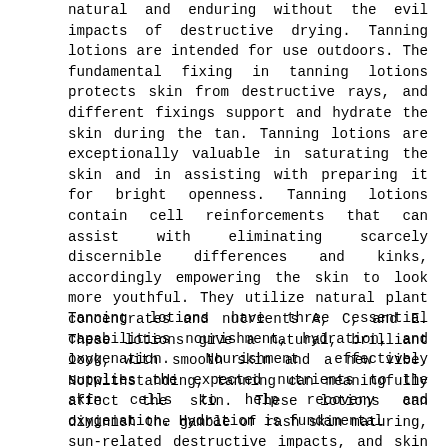natural and enduring without the evil impacts of destructive drying. Tanning lotions are intended for use outdoors. The fundamental fixing in tanning lotions protects skin from destructive rays, and different fixings support and hydrate the skin during the tan. Tanning lotions are exceptionally valuable in saturating the skin and in assisting with preparing it for bright openness. Tanning lotions contain cell reinforcements that can assist with eliminating scarcely discernible differences and kinks, accordingly empowering the skin to look more youthful. They utilize natural plant concentrates and nutrients A, C, and E. These lotions give a natural, brilliant look, with smooth skin and a new vibe. Notwithstanding, tanning can meaningfully affect the skin. These lotions can diminish the gamble of rash skin maturing, sun-related destructive impacts, and skin disease.
Tanning lotions have three essential capabilities nourishment, hydration, and oxygenation. Nourishment effectively supplies the expected nutrients to the skin cells to help recovery and oxygenation. Hydration is fundamental